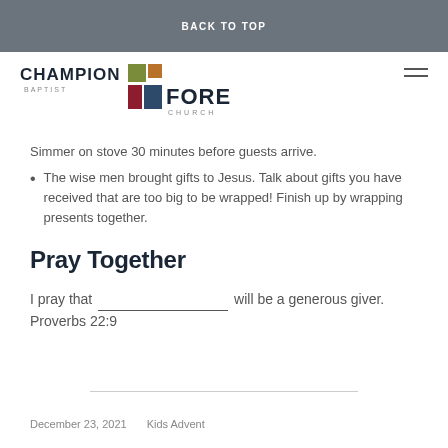BACK TO TOP
[Figure (logo): Champion Baptist Forest Church logo with colored squares]
Simmer on stove 30 minutes before guests arrive.
The wise men brought gifts to Jesus. Talk about gifts you have received that are too big to be wrapped! Finish up by wrapping presents together.
Pray Together
I pray that ____________________ will be a generous giver. Proverbs 22:9
December 23, 2021    Kids Advent